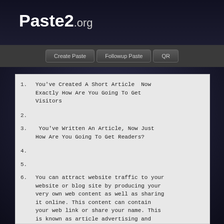Paste2.org
Create Paste | Followup Paste | QR
1. You've Created A Short Article  Now Exactly How Are You Going To Get Visitors
2.
3.  You've Written An Article, Now Just How Are You Going To Get Readers?
4.
5.
6. You can attract website traffic to your website or blog site by producing your very own web content as well as sharing it online. This content can contain your web link or share your name. This is known as article advertising and also might sound like an extremely obvious type of advertising and marketing. Take in these suggestions to discover excellent ways to do it well.
7.